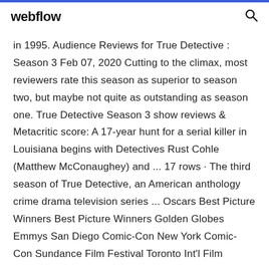webflow
in 1995. Audience Reviews for True Detective : Season 3 Feb 07, 2020 Cutting to the climax, most reviewers rate this season as superior to season two, but maybe not quite as outstanding as season one. True Detective Season 3 show reviews & Metacritic score: A 17-year hunt for a serial killer in Louisiana begins with Detectives Rust Cohle (Matthew McConaughey) and ... 17 rows · The third season of True Detective, an American anthology crime drama television series ... Oscars Best Picture Winners Best Picture Winners Golden Globes Emmys San Diego Comic-Con New York Comic-Con Sundance Film Festival Toronto Int'l Film